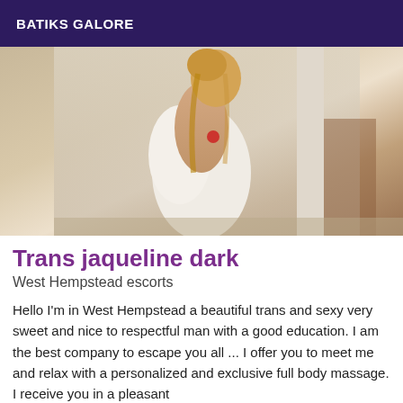BATIKS GALORE
[Figure (photo): A person posing indoors, partially covered with a white garment, with blonde hair, standing against a light-colored wall.]
Trans jaqueline dark
West Hempstead escorts
Hello I'm in West Hempstead a beautiful trans and sexy very sweet and nice to respectful man with a good education. I am the best company to escape you all ... I offer you to meet me and relax with a personalized and exclusive full body massage. I receive you in a pleasant